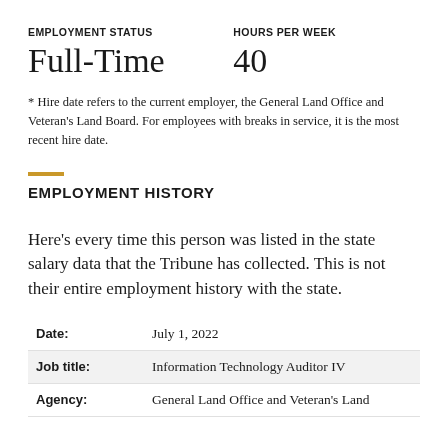EMPLOYMENT STATUS
HOURS PER WEEK
Full-Time
40
* Hire date refers to the current employer, the General Land Office and Veteran's Land Board. For employees with breaks in service, it is the most recent hire date.
EMPLOYMENT HISTORY
Here's every time this person was listed in the state salary data that the Tribune has collected. This is not their entire employment history with the state.
|  |  |
| --- | --- |
| Date: | July 1, 2022 |
| Job title: | Information Technology Auditor IV |
| Agency: | General Land Office and Veteran's Land |